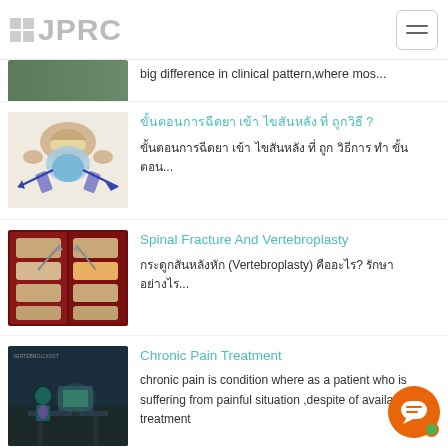JPRC
big difference in clinical pattern,where mos...
ขั้นตอนการฉีดยา เข้า ไขสันหลัง ที่ ถูกวิธี?
ขั้นตอนการฉีดยา เข้า ไขสันหลัง ที่ ถูก วิธีการ ทำ ขั้นตอน...
Spinal Fracture And Vertebroplasty
กระดูกสันหลังหัก (Vertebroplasty) คืออะไร? รักษาอย่างไร...
Chronic Pain Treatment
chronic pain is condition where as a patient who is suffering from painful situation ,despite of available treatment